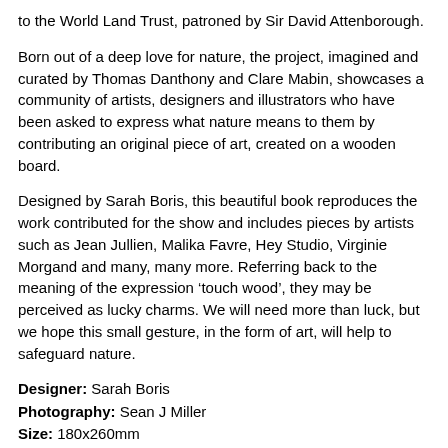to the World Land Trust, patroned by Sir David Attenborough.
Born out of a deep love for nature, the project, imagined and curated by Thomas Danthony and Clare Mabin, showcases a community of artists, designers and illustrators who have been asked to express what nature means to them by contributing an original piece of art, created on a wooden board.
Designed by Sarah Boris, this beautiful book reproduces the work contributed for the show and includes pieces by artists such as Jean Jullien, Malika Favre, Hey Studio, Virginie Morgand and many, many more. Referring back to the meaning of the expression ‘touch wood’, they may be perceived as lucky charms. We will need more than luck, but we hope this small gesture, in the form of art, will help to safeguard nature.
Designer: Sarah Boris
Photography: Sean J Miller
Size: 180x260mm
Pages: 212
Publication: 2019